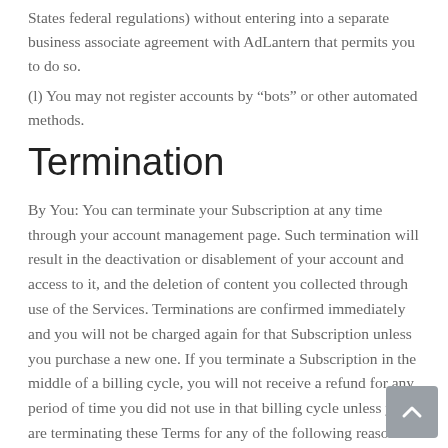States federal regulations) without entering into a separate business associate agreement with AdLantern that permits you to do so.
(l) You may not register accounts by “bots” or other automated methods.
Termination
By You: You can terminate your Subscription at any time through your account management page. Such termination will result in the deactivation or disablement of your account and access to it, and the deletion of content you collected through use of the Services. Terminations are confirmed immediately and you will not be charged again for that Subscription unless you purchase a new one. If you terminate a Subscription in the middle of a billing cycle, you will not receive a refund for any period of time you did not use in that billing cycle unless you are terminating these Terms for any of the following reasons: (a) we have materially breached these